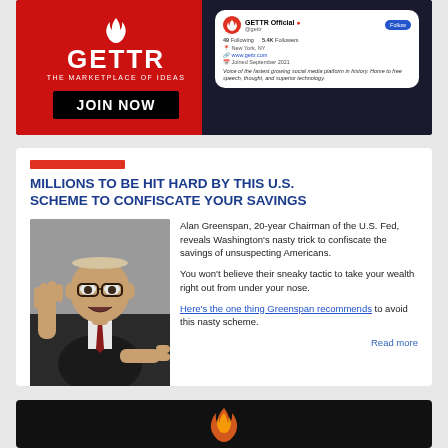[Figure (advertisement): GETTR social media platform advertisement banner. Left side: red background with GETTR logo (flame icon), text 'THE MARKETPLACE OF IDEAS', black 'JOIN NOW' button. Right side: smartphone showing GETTR Official profile page with 49 Following, 5.4K Followers, New York NY, www.gettr.com, Joined September 2021, tagline about fastest growing social media platform.]
[Figure (advertisement): News article card with red bar accent, headline 'MILLIONS TO BE HIT HARD BY THIS U.S. SCHEME TO CONFISCATE YOUR SAVINGS', photo of Alan Greenspan (elderly man with glasses, gesturing), and text about Washington's scheme to confiscate savings, with blue hyperlink 'Here's the one thing Greenspan recommends' and 'Read more' link.]
[Figure (other): Dark/black card at bottom of page with flame or fire element visible.]